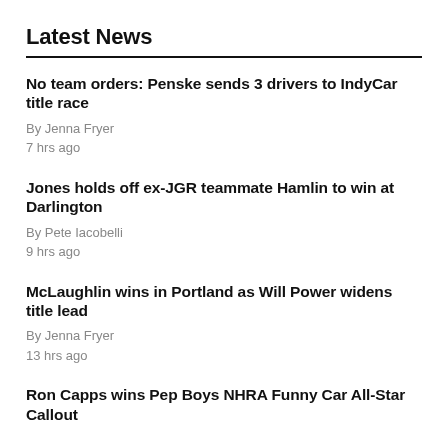Latest News
No team orders: Penske sends 3 drivers to IndyCar title race
By Jenna Fryer
7 hrs ago
Jones holds off ex-JGR teammate Hamlin to win at Darlington
By Pete Iacobelli
9 hrs ago
McLaughlin wins in Portland as Will Power widens title lead
By Jenna Fryer
13 hrs ago
Ron Capps wins Pep Boys NHRA Funny Car All-Star Callout